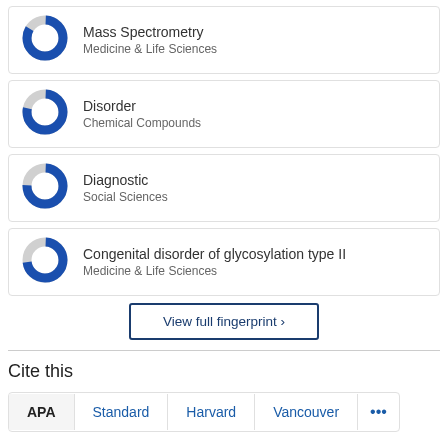[Figure (donut-chart): Donut chart icon for Mass Spectrometry, mostly blue with small grey portion]
Mass Spectrometry
Medicine & Life Sciences
[Figure (donut-chart): Donut chart icon for Disorder, mostly blue with small grey portion]
Disorder
Chemical Compounds
[Figure (donut-chart): Donut chart icon for Diagnostic, mostly blue with small grey portion]
Diagnostic
Social Sciences
[Figure (donut-chart): Donut chart icon for Congenital disorder of glycosylation type II, mostly blue with small grey portion]
Congenital disorder of glycosylation type II
Medicine & Life Sciences
View full fingerprint ›
Cite this
APA   Standard   Harvard   Vancouver   ...